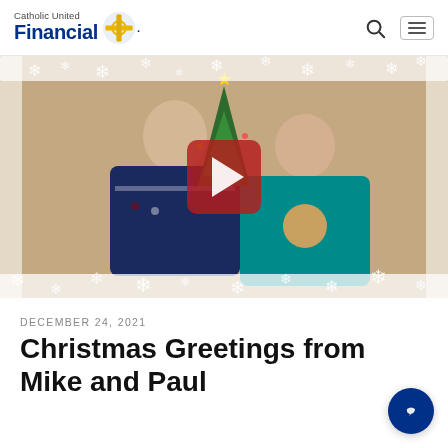Catholic United Financial
[Figure (photo): Two men wearing Christmas/ugly sweaters in front of a Christmas tree, with a video play button overlay and animated snowflake overlay. This is a video thumbnail for a Christmas greeting.]
DECEMBER 24, 2021
Christmas Greetings from Mike and Paul